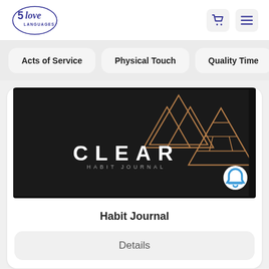[Figure (logo): 5 Love Languages logo — circular with italic script text]
[Figure (illustration): Shopping cart icon and hamburger menu icon in header]
Acts of Service
Physical Touch
Quality Time
[Figure (photo): Clear Habit Journal product photo — black cover with copper/gold triangle geometric logo design on dark background]
Habit Journal
Details